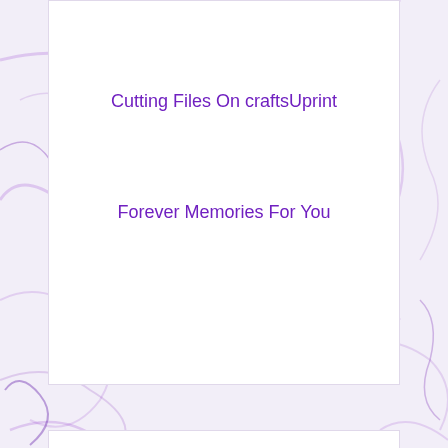Cutting Files On craftsUprint
Forever Memories For You
Craft Supplies – Digital Stamps
Digital Stamping Files on craftsUprint
Dragons Lair Designs